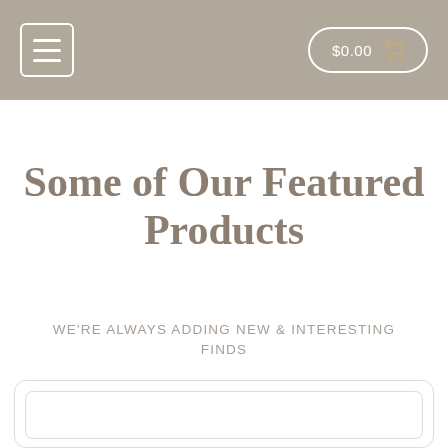$0.00
Some of Our Featured Products
We're Always Adding New & Interesting Finds